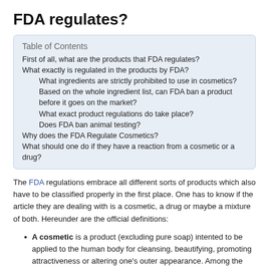FDA regulates?
| Table of Contents |
| --- |
| First of all, what are the products that FDA regulates? |
| What exactly is regulated in the products by FDA? |
| What ingredients are strictly prohibited to use in cosmetics? |
| Based on the whole ingredient list, can FDA ban a product before it goes on the market? |
| What exact product regulations do take place? |
| Does FDA ban animal testing? |
| Why does the FDA Regulate Cosmetics? |
| What should one do if they have a reaction from a cosmetic or a drug? |
The FDA regulations embrace all different sorts of products which also have to be classified properly in the first place. One has to know if the article they are dealing with is a cosmetic, a drug or maybe a mixture of both. Hereunder are the official definitions:
A cosmetic is a product (excluding pure soap) intented to be applied to the human body for cleansing, beautifying, promoting attractiveness or altering one's outer appearance. Among the cosmetics group: skin moisturizers, cleansers